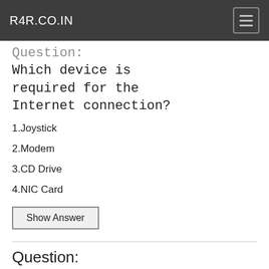R4R.CO.IN
Question:
Which device is required for the Internet connection?
1.Joystick
2.Modem
3.CD Drive
4.NIC Card
Show Answer
Question: